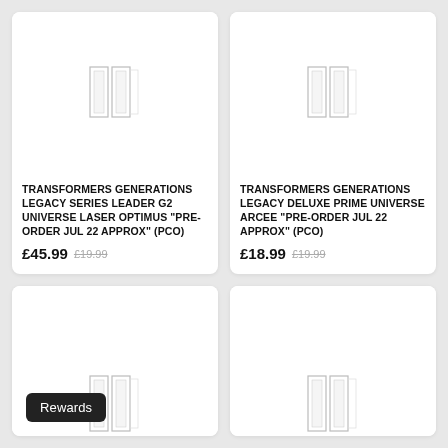[Figure (photo): Product placeholder image for Transformers Generations Legacy Series Leader G2 Universe Laser Optimus - two white rectangles on white background]
TRANSFORMERS GENERATIONS LEGACY SERIES LEADER G2 UNIVERSE LASER OPTIMUS "PRE-ORDER JUL 22 APPROX" (PCO)
£45.99  £19.99
[Figure (photo): Product placeholder image for Transformers Generations Legacy Deluxe Prime Universe Arcee - two white rectangles on white background]
TRANSFORMERS GENERATIONS LEGACY DELUXE PRIME UNIVERSE ARCEE "PRE-ORDER JUL 22 APPROX" (PCO)
£18.99  £19.99
[Figure (photo): Product placeholder image bottom left - two white rectangles on white background]
[Figure (photo): Product placeholder image bottom right - two white rectangles on white background]
Rewards